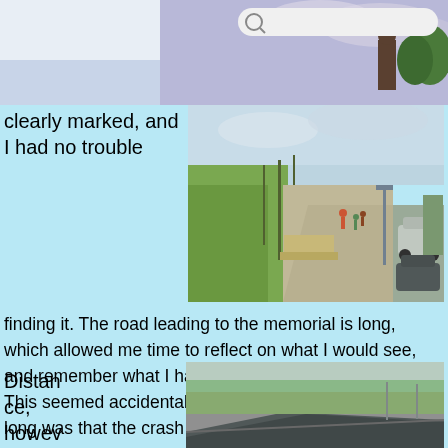[Figure (photo): Top banner photo showing a search bar UI element and a person standing, with sky background]
clearly marked, and I had no trouble
[Figure (photo): Photo of a paved walkway/path with people walking, parked cars visible on right, greenery on sides]
finding it. The road leading to the memorial is long, which allowed me time to reflect on what I would see, and remember what I had seen nearly 11 years ago. This seemed accidental, as the reason the road was so long was that the crash site was far from any road.
Distance, however, was
[Figure (photo): Photo of a curved concrete wall/memorial structure with a flat landscape and trees in the background]